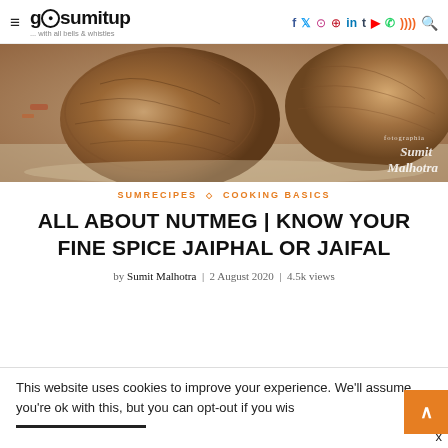gosumitup ... with all bells & whistles | social icons | search
[Figure (photo): Close-up photo of whole nutmeg spices on a textured surface, with a watermark reading 'Sumit Malhotra fotographia']
SUMRECIPES ◇ COOKING BASICS
ALL ABOUT NUTMEG | KNOW YOUR FINE SPICE JAIPHAL OR JAIFAL
by Sumit Malhotra | 2 August 2020 | 4.5k views
This website uses cookies to improve your experience. We'll assume you're ok with this, but you can opt-out if you wish